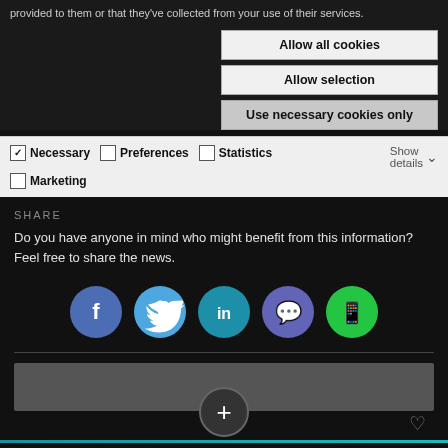provided to them or that they've collected from your use of their services.
Allow all cookies
Allow selection
Use necessary cookies only
Necessary  Preferences  Statistics  Marketing  Show details
Do you have anyone in mind who might benefit from this information? Feel free to share the news.
[Figure (infographic): Social sharing buttons: Facebook, Twitter, LinkedIn, Messenger, WhatsApp]
[Figure (screenshot): Bottom navigation bar with plus button and heart icon, teal accent line]